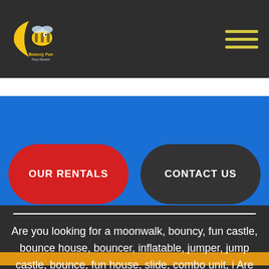Bouncy Fun Party Rentals - Navigation Header
[Figure (logo): Bouncy Fun party rentals logo with cartoon character on dark header background]
OUR RENTALS
CONTACT US
Are you looking for a moonwalk, bouncy, fun castle, bounce house, bouncer, inflatable, jumper, jump castle, bounce, fun house, slide, combo unit, i Are you looking